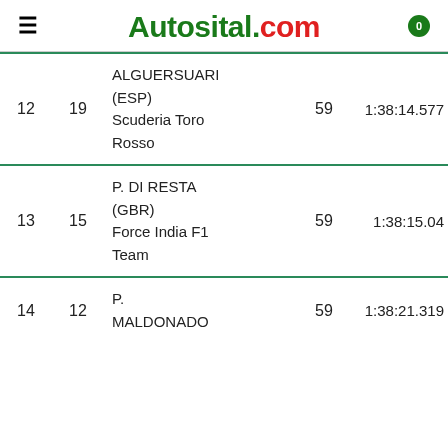Autosital.com
| Pos | No | Driver / Team | Laps | Time |
| --- | --- | --- | --- | --- |
| 12 | 19 | ALGUERSUARI (ESP) Scuderia Toro Rosso | 59 | 1:38:14.577 |
| 13 | 15 | P. DI RESTA (GBR) Force India F1 Team | 59 | 1:38:15.04 |
| 14 | 12 | P. MALDONADO (VEN) | 59 | 1:38:21.319 |